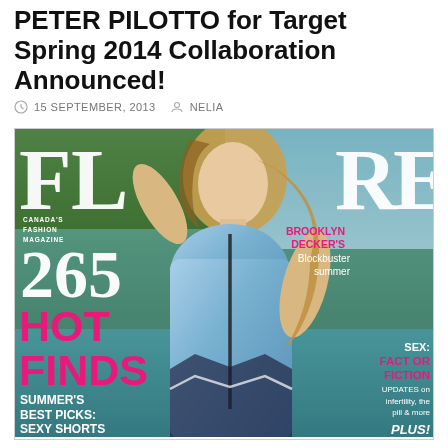PETER PILOTTO for Target Spring 2014 Collaboration Announced!
15 SEPTEMBER, 2013   NELIA
[Figure (photo): Flare Canada magazine cover featuring Brooklyn Decker. The cover shows the model in a blue patterned dress in front of a pool/garden backdrop. Cover text includes: FLARE logo, CANADA'S FASHION MAGAZINE, 265 HOT FINDS, SUMMER'S BEST PICKS: SEXY SHORTS DRESSES, BROOKLYN DECKER'S Blockbuster summer, SEX: FACT OR FICTION UPDATES on infertility, the pill & more, PLUS!]